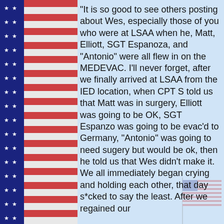[Figure (illustration): Left side decorative American flag strip with alternating red and white horizontal stripes and a blue field with white stars on the left edge, repeated vertically down the page.]
"It is so good to see others posting about Wes, especially those of you who were at LSAA when he, Matt, Elliott, SGT Espanoza, and "Antonio" were all flew in on the MEDEVAC. I'll never forget, after we finally arrived at LSAA from the IED location, when CPT S told us that Matt was in surgery, Elliott was going to be OK, SGT Espanzo was going to be evac'd to Germany, "Antonio" was going to need sugery but would be ok, then he told us that Wes didn't make it. We all immediately began crying and holding each other, that day s*cked to say the least. After we regained our
[Figure (illustration): Faded/watermark American flag image in the lower right area of the text column, semi-transparent with red, white and blue colors.]